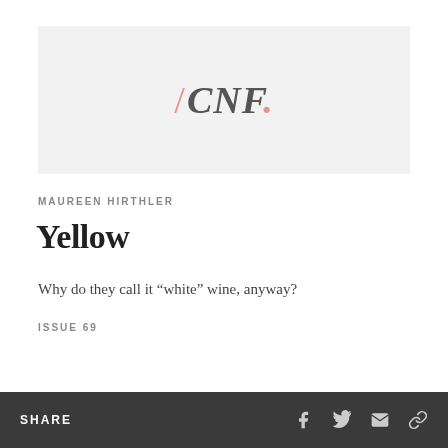[Figure (logo): Logo banner with light gray background showing '/CNF.' in italic serif font with slash and dot in salmon/pink color]
MAUREEN HIRTHLER
Yellow
Why do they call it “white” wine, anyway?
ISSUE 69
SHARE